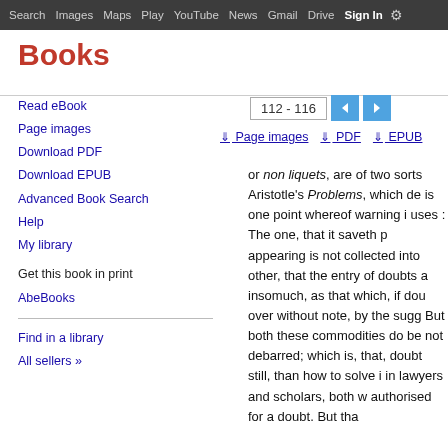Search  Images  Maps  Play  YouTube  News  Gmail  Drive  More  Sign In
Books
112 - 116
Page images
PDF
EPUB
Read eBook
Page images
Download PDF
Download EPUB
Advanced Book Search
Help
My library
Get this book in print
AbeBooks
Find in a library
All sellers »
or non liquets, are of two sorts Aristotle's Problems, which de is one point whereof warning i uses : The one, that it saveth p appearing is not collected into other, that the entry of doubts a insomuch, as that which, if dou over without note, by the sugg But both these commodities do be not debarred; which is, that, doubt still, than how to solve i in lawyers and scholars, both w authorised for a doubt. But tha doubtful things certain, and no Therefore these katio proble-1